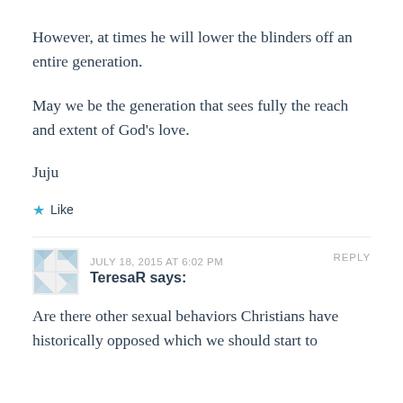However, at times he will lower the blinders off an entire generation.
May we be the generation that sees fully the reach and extent of God's love.
Juju
★ Like
JULY 18, 2015 AT 6:02 PM   REPLY
TeresaR says:
Are there other sexual behaviors Christians have historically opposed which we should start to